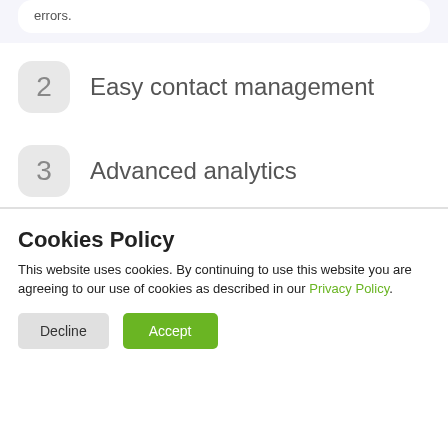errors.
2  Easy contact management
3  Advanced analytics
Cookies Policy
This website uses cookies. By continuing to use this website you are agreeing to our use of cookies as described in our Privacy Policy.
Decline  Accept